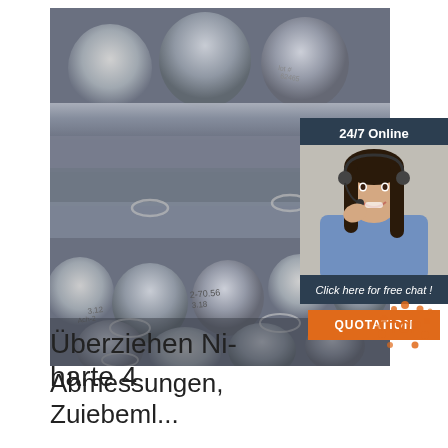[Figure (photo): Stack of grey metal round steel rods/bars bundled with wire ties, photographed from the end showing circular cross-sections with handwritten labels. Industrial materials photo.]
[Figure (photo): Customer service representative woman wearing a headset, smiling, with dark hair, overlaid on dark blue panel. 24/7 Online chat support widget with QUOTATION button.]
[Figure (illustration): TOP badge/logo — orange dot-pattern circle with TOP text in orange on white, bottom right corner.]
Überziehen Ni-harte 4
Abmessungen, Zuiebeml...